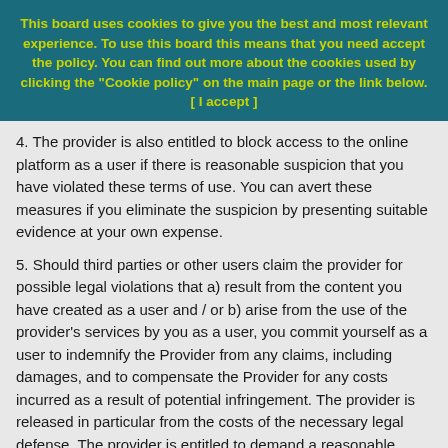This board uses cookies to give you the best and most relevant experience. To use this board this means that you need accept the policy. You can find out more about the cookies used by clicking the "Cookie policy" on the main page or the link below. [ I accept ]
4. The provider is also entitled to block access to the online platform as a user if there is reasonable suspicion that you have violated these terms of use. You can avert these measures if you eliminate the suspicion by presenting suitable evidence at your own expense.
5. Should third parties or other users claim the provider for possible legal violations that a) result from the content you have created as a user and / or b) arise from the use of the provider's services by you as a user, you commit yourself as a user to indemnify the Provider from any claims, including damages, and to compensate the Provider for any costs incurred as a result of potential infringement. The provider is released in particular from the costs of the necessary legal defense. The provider is entitled to demand a reasonable advance from you as the user. As a user you are obliged to support the provider in good faith with information and documents in the legal defense against third parties. All further rights and claims for damages from the vendor are